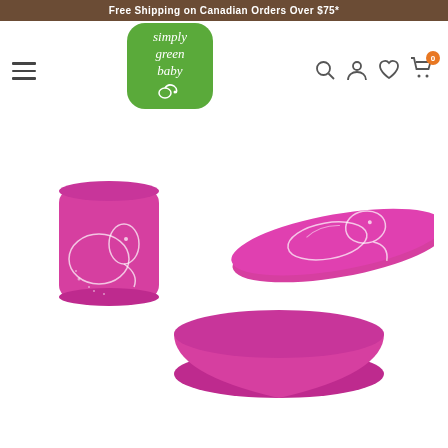Free Shipping on Canadian Orders Over $75*
[Figure (logo): Simply Green Baby logo — green rounded square with italic white text 'simply green baby' and a leaf/flower icon]
[Figure (photo): Pink silicone baby cup and snack container set with lid, decorated with a white elephant illustration]